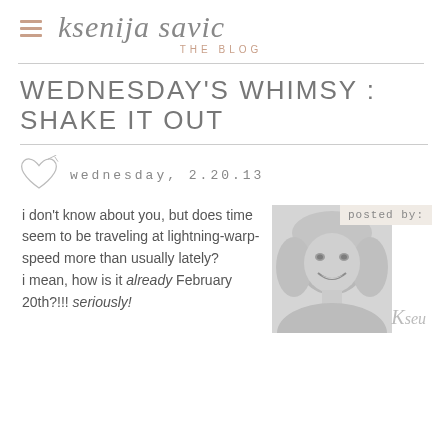ksenija savic THE BLOG
WEDNESDAY'S WHIMSY : SHAKE IT OUT
wednesday, 2.20.13
i don't know about you, but does time seem to be traveling at lightning-warp-speed more than usually lately?
i mean, how is it already February 20th?!!! seriously!
[Figure (photo): Black and white portrait photo of a smiling blonde woman, with a 'posted by:' label and signature overlay]